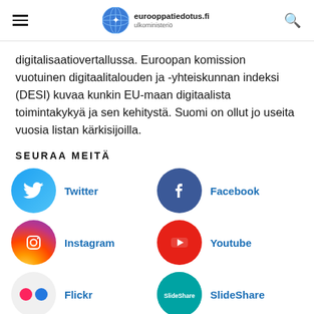eurooppatiedotus.fi ulkoministeriö
digitalisaatiovertallussa. Euroopan komission vuotuinen digitaalitalouden ja -yhteiskunnan indeksi (DESI) kuvaa kunkin EU-maan digitaalista toimintakykyä ja sen kehitystä. Suomi on ollut jo useita vuosia listan kärkisijoilla.
SEURAA MEITÄ
[Figure (other): Twitter social media icon - light blue circle with white Twitter bird logo]
Twitter
[Figure (other): Facebook social media icon - dark blue circle with white f logo]
Facebook
[Figure (other): Instagram social media icon - gradient circle with white camera logo]
Instagram
[Figure (other): Youtube social media icon - red circle with white play button]
Youtube
[Figure (other): Flickr social media icon - light gray circle with pink and red dots]
Flickr
[Figure (other): SlideShare social media icon - teal circle with SlideShare text logo]
SlideShare